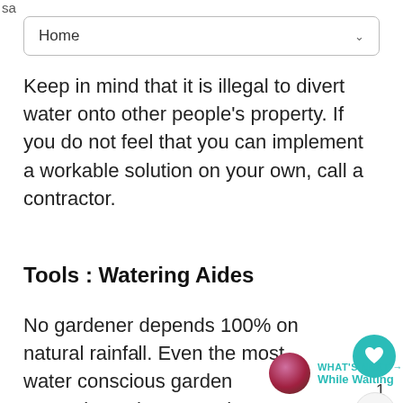Home
Keep in mind that it is illegal to divert water onto other people's property. If you do not feel that you can implement a workable solution on your own, call a contractor.
Tools : Watering Aides
No gardener depends 100% on natural rainfall. Even the most water conscious garden appreciates the proper hose, watering can or wand.